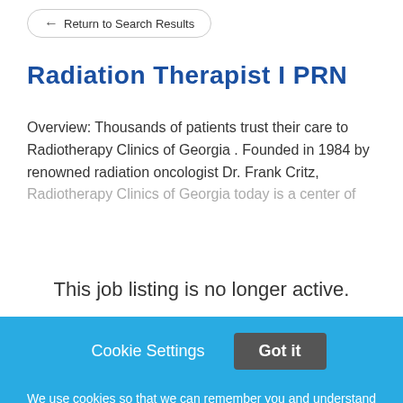← Return to Search Results
Radiation Therapist I PRN
Overview: Thousands of patients trust their care to Radiotherapy Clinics of Georgia . Founded in 1984 by renowned radiation oncologist Dr. Frank Critz, Radiotherapy Clinics of Georgia today is a center of
This job listing is no longer active.
Cookie Settings   Got it
We use cookies so that we can remember you and understand how you use our site. If you do not agree with our use of cookies, please change the current settings found in our Cookie Policy. Otherwise, you agree to the use of the cookies as they are currently set.